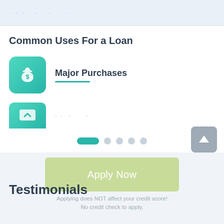· · · · · · · · · ·
Common Uses For a Loan
Major Purchases
· · · · ·
[Figure (infographic): Pagination dots row with one active teal pill and four grey circles, plus a grey scroll-up arrow button]
Apply Now
Testimonials
Applying does NOT affect your credit score!
No credit check to apply.